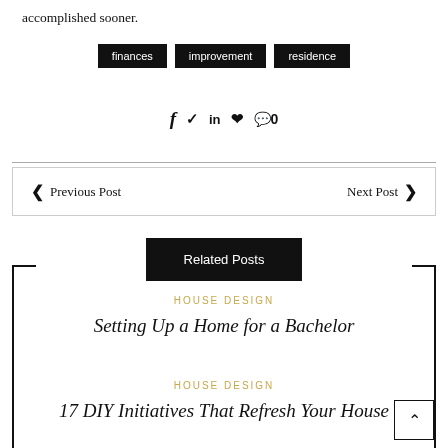accomplished sooner.
finances
improvement
residence
f  y  in  ℗  💬 0
< Previous Post    Next Post >
Related Posts
HOUSE DESIGN
Setting Up a Home for a Bachelor
HOUSE DESIGN
17 DIY Initiatives That Refresh Your House